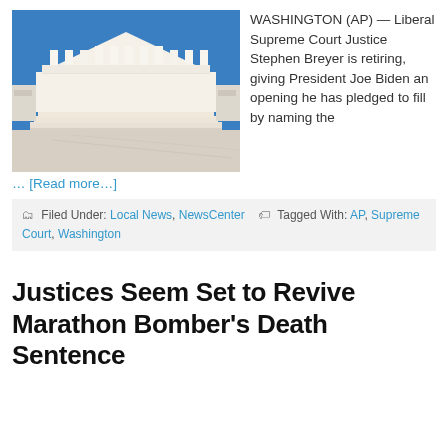[Figure (photo): Photo of the United States Supreme Court building exterior with white marble columns and blue sky]
WASHINGTON (AP) — Liberal Supreme Court Justice Stephen Breyer is retiring, giving President Joe Biden an opening he has pledged to fill by naming the
… [Read more…]
Filed Under: Local News, NewsCenter   Tagged With: AP, Supreme Court, Washington
Justices Seem Set to Revive Marathon Bomber's Death Sentence